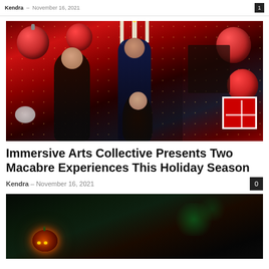Kendra – November 16, 2021
[Figure (photo): Promotional photo for Immersive Arts Collective holiday event: performers in formal and gothic attire against a red background with large Christmas ornaments, candles, and wrapped gifts.]
Immersive Arts Collective Presents Two Macabre Experiences This Holiday Season
Kendra – November 16, 2021
[Figure (photo): Dark atmospheric photo showing a glowing jack-o-lantern and green-lit trees, for a second article below.]